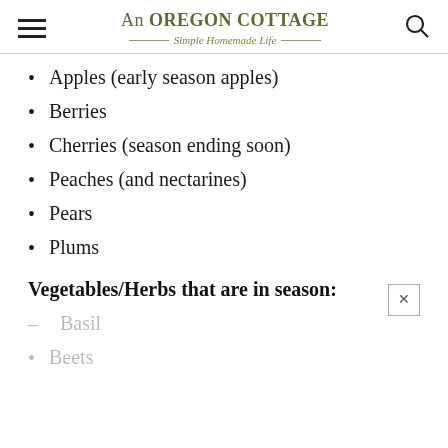An OREGON COTTAGE — Simple Homemade Life —
Apples (early season apples)
Berries
Cherries (season ending soon)
Peaches (and nectarines)
Pears
Plums
Vegetables/Herbs that are in season:
Basil
Beets